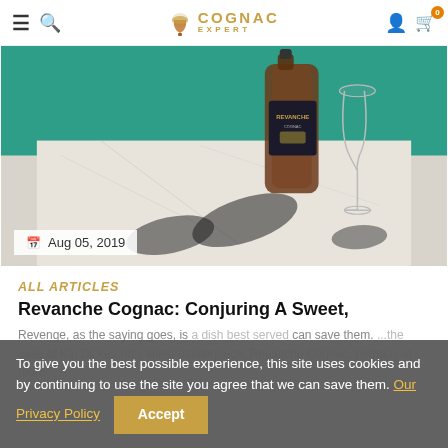COGNAC EXPERT
[Figure (photo): Photo of a Revanche Cognac bottle and a wine glass casting dark shadows on a white marble/granite surface, with a teal/green background. Date badge shows Aug 05, 2019.]
ALL ARTICLES
Revanche Cognac: Conjuring A Sweet, Mysterious...
Revenge, as the saying goes, is a dish best served can save them. ...the case of Kip Dicke...nn's latest masterpiece, Revanche Cognac, perhaps at room
To give you the best possible experience, this site uses cookies and by continuing to use the site you agree that we can save them. Our Privacy Policy  Accept